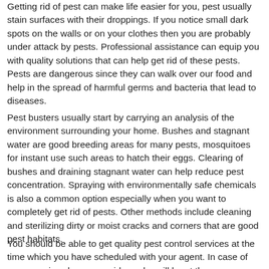Getting rid of pest can make life easier for you, pest usually stain surfaces with their droppings. If you notice small dark spots on the walls or on your clothes then you are probably under attack by pests. Professional assistance can equip you with quality solutions that can help get rid of these pests. Pests are dangerous since they can walk over our food and help in the spread of harmful germs and bacteria that lead to diseases.
Pest busters usually start by carrying an analysis of the environment surrounding your home. Bushes and stagnant water are good breeding areas for many pests, mosquitoes for instant use such areas to hatch their eggs. Clearing of bushes and draining stagnant water can help reduce pest concentration. Spraying with environmentally safe chemicals is also a common option especially when you want to completely get rid of pests. Other methods include cleaning and sterilizing dirty or moist cracks and corners that are good pest habitats.
You should be able to get quality pest control services at the time which you have scheduled with your agent. In case of emergencies choose providers who will be at the scene...